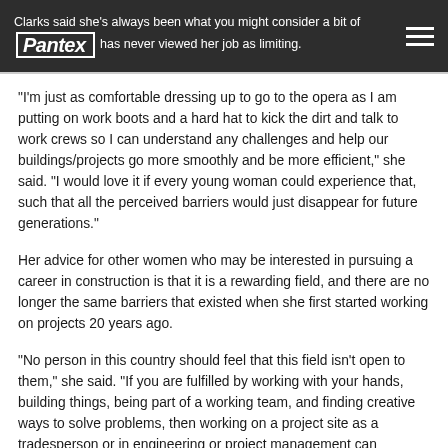Clarks said she's always been what you might consider a bit of a tomboy and has never viewed her job as limiting.
“I'm just as comfortable dressing up to go to the opera as I am putting on work boots and a hard hat to kick the dirt and talk to work crews so I can understand any challenges and help our buildings/projects go more smoothly and be more efficient,” she said. “I would love it if every young woman could experience that, such that all the perceived barriers would just disappear for future generations.”
Her advice for other women who may be interested in pursuing a career in construction is that it is a rewarding field, and there are no longer the same barriers that existed when she first started working on projects 20 years ago.
“No person in this country should feel that this field isn’t open to them,” she said. “If you are fulfilled by working with your hands, building things, being part of a working team, and finding creative ways to solve problems, then working on a project site as a tradesperson or in engineering or project management can